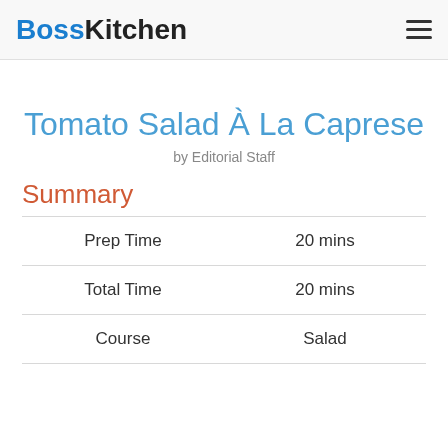BossKitchen
Tomato Salad À La Caprese
by Editorial Staff
Summary
|  |  |
| --- | --- |
| Prep Time | 20 mins |
| Total Time | 20 mins |
| Course | Salad |